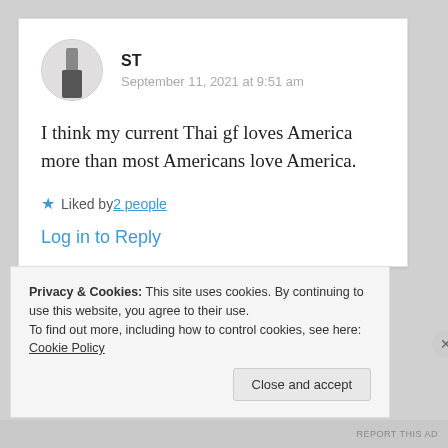[Figure (photo): Circular avatar showing a person in dark clothing against a light background]
ST
September 11, 2021 at 9:51 am
I think my current Thai gf loves America more than most Americans love America.
Liked by 2 people
Log in to Reply
Privacy & Cookies: This site uses cookies. By continuing to use this website, you agree to their use.
To find out more, including how to control cookies, see here: Cookie Policy
Close and accept